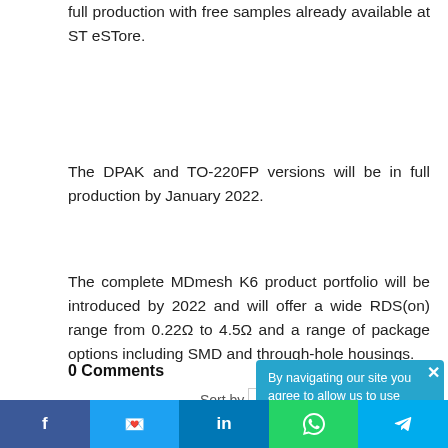full production with free samples already available at ST eSTore.
The DPAK and TO-220FP versions will be in full production by January 2022.
The complete MDmesh K6 product portfolio will be introduced by 2022 and will offer a wide RDS(on) range from 0.22Ω to 4.5Ω and a range of package options including SMD and through-hole housings.
0 Comments
Sort by Newest
By navigating our site you agree to allow us to use cookies in
f  t  in  [whatsapp]  [telegram]